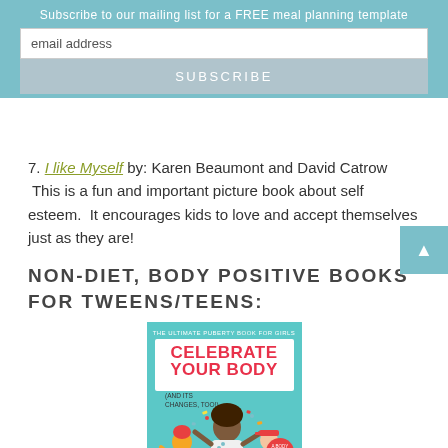Subscribe to our mailing list for a FREE meal planning template
email address
SUBSCRIBE
7. I like Myself by: Karen Beaumont and David Catrow  This is a fun and important picture book about self esteem.  It encourages kids to love and accept themselves just as they are!
NON-DIET, BODY POSITIVE BOOKS FOR TWEENS/TEENS:
[Figure (photo): Book cover of 'Celebrate Your Body (And Its Changes, Too!)' - The Ultimate Puberty Book for Girls, showing illustrated girls celebrating]